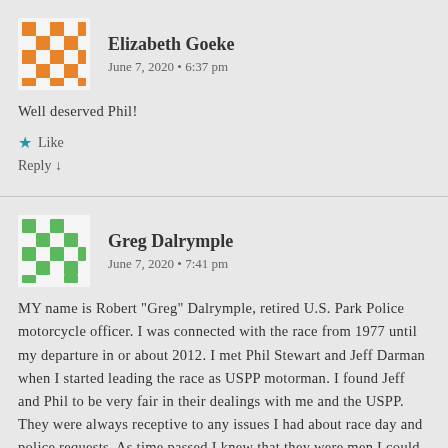[Figure (illustration): Orange mosaic/quilt pattern avatar for Elizabeth Goeke]
Elizabeth Goeke
June 7, 2020 • 6:37 pm
Well deserved Phil!
★ Like
Reply ↓
[Figure (illustration): Green pixel/QR-code style avatar for Greg Dalrymple]
Greg Dalrymple
June 7, 2020 • 7:41 pm
MY name is Robert "Greg" Dalrymple, retired U.S. Park Police motorcycle officer. I was connected with the race from 1977 until my departure in or about 2012. I met Phil Stewart and Jeff Darman when I started leading the race as USPP motorman. I found Jeff and Phil to be very fair in their dealings with me and the USPP. They were always receptive to any issues I had about race day and police requests. As time passed I knew that they were men I could work with so I advised them that I would